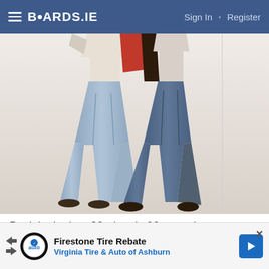BOARDS.IE  Sign In · Register
[Figure (photo): Two people wearing baggy wide-leg jeans from the late 80s/early 90s style, shown from waist down. One wearing a white shirt with light grey jeans, other holding a red/orange bag with dark blue wide flare jeans.]
Back in the late 80s / early 90s people wore clothes that were at least three sizes too big for them. All I wanted at the time were big baggy jeans like The Stone Roses
[Figure (infographic): Advertisement banner: Firestone Tire Rebate - Virginia Tire & Auto of Ashburn, with play/close navigation icons and blue arrow logo]